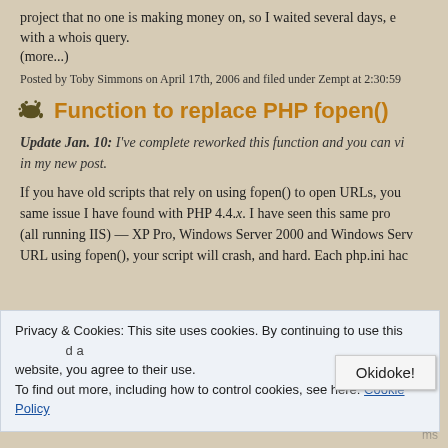project that no one is making money on, so I waited several days, with a whois query.
(more...)
Posted by Toby Simmons on April 17th, 2006 and filed under Zempt at 2:30:59
Function to replace PHP fopen()
Update Jan. 10: I've complete reworked this function and you can v... in my new post.
If you have old scripts that rely on using fopen() to open URLs, you same issue I have found with PHP 4.4.x. I have seen this same pro (all running IIS) — XP Pro, Windows Server 2000 and Windows Ser URL using fopen(), your script will crash, and hard. Each php.ini hac
Privacy & Cookies: This site uses cookies. By continuing to use this website, you agree to their use.
To find out more, including how to control cookies, see here: Cookie Policy